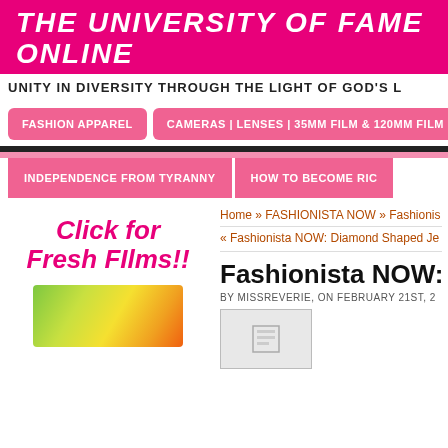THE UNIVERSITY OF FAME ONLINE
UNITY IN DIVERSITY THROUGH THE LIGHT OF GOD'S L
FASHION APPAREL
CAMERAS | LENSES | 35MM FILM & 120MM FILM
INDEPENDENCE FROM TYRANNY
HOW TO BECOME RIC
Home » FASHIONISTA NOW » Fashionista NOW:
« Fashionista NOW: Diamond Shaped Je
Fashionista NOW: 10 S
BY MISSREVERIE, ON FEBRUARY 21ST, 2
Click for Fresh FIlms!!